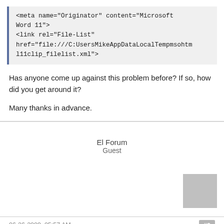&lt;meta name="Originator" content="Microsoft Word 11"&gt;
&lt;link rel="File-List" href="file:///C:UsersMikeAppDataLocalTempmsohtml11clip_filelist.xml"&gt;
Has anyone come up against this problem before? If so, how did you get around it?
Many thanks in advance.
El Forum
Guest
06-26-2009, 05:57 AM   #2